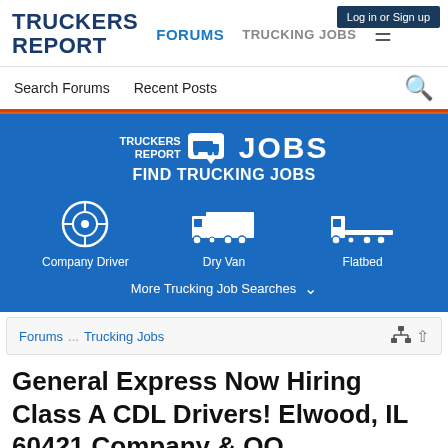Log in or Sign up
[Figure (logo): Truckers Report logo — bold dark blue stacked text 'TRUCKERS REPORT']
FORUMS  TRUCKING JOBS  ≡
Search Forums  Recent Posts  🔍
[Figure (infographic): Blue banner: TRUCKERS REPORT JOBS — FIND TRUCKING JOBS — icons for Company Driver, Dry Van, Flatbed — More Trucking Job Searches dropdown]
Forums  ...  Trucking Jobs
General Express Now Hiring Class A CDL Drivers! Elwood, IL 60421 Company & OO